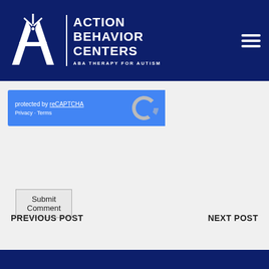ACTION BEHAVIOR CENTERS — ABA THERAPY FOR AUTISM
[Figure (screenshot): reCAPTCHA widget with blue background showing 'protected by reCAPTCHA', Privacy and Terms links, and reCAPTCHA logo icon]
Submit Comment
PREVIOUS POST
NEXT POST